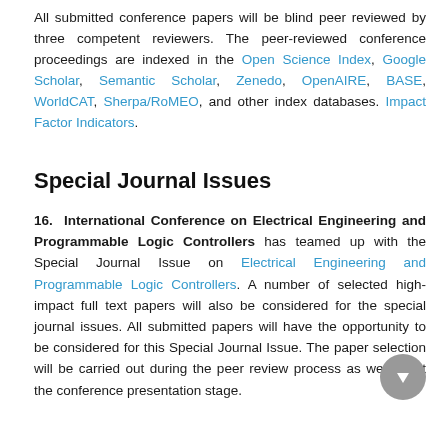All submitted conference papers will be blind peer reviewed by three competent reviewers. The peer-reviewed conference proceedings are indexed in the Open Science Index, Google Scholar, Semantic Scholar, Zenedo, OpenAIRE, BASE, WorldCAT, Sherpa/RoMEO, and other index databases. Impact Factor Indicators.
Special Journal Issues
16. International Conference on Electrical Engineering and Programmable Logic Controllers has teamed up with the Special Journal Issue on Electrical Engineering and Programmable Logic Controllers. A number of selected high-impact full text papers will also be considered for the special journal issues. All submitted papers will have the opportunity to be considered for this Special Journal Issue. The paper selection will be carried out during the peer review process as well as at the conference presentation stage.